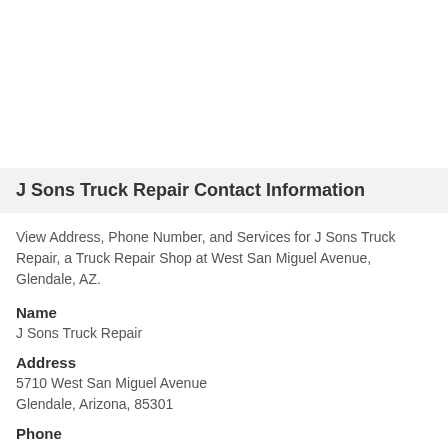J Sons Truck Repair Contact Information
View Address, Phone Number, and Services for J Sons Truck Repair, a Truck Repair Shop at West San Miguel Avenue, Glendale, AZ.
Name
J Sons Truck Repair
Address
5710 West San Miguel Avenue
Glendale, Arizona, 85301
Phone